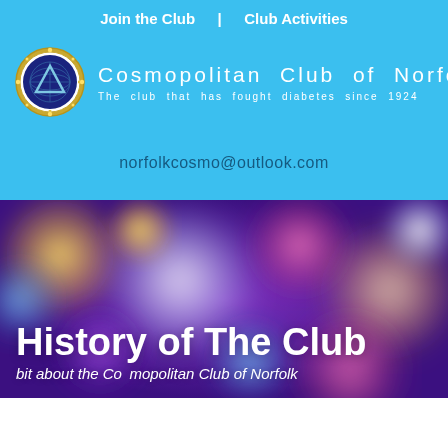Join the Club  |  Club Activities
[Figure (logo): Cosmopolitan Club of Norfolk circular emblem logo with triangle and globe design]
Cosmopolitan  Club  of  Norfolk
The club that has fought diabetes since 1924
[Figure (other): Hamburger menu icon (three white horizontal bars on dark background)]
norfolkcosmo@outlook.com
[Figure (photo): Blurred bokeh background with purple, pink, blue and yellow light circles suggesting a nightlife or event atmosphere]
History of The Club
bit about the Cosmopolitan Club of Norfolk